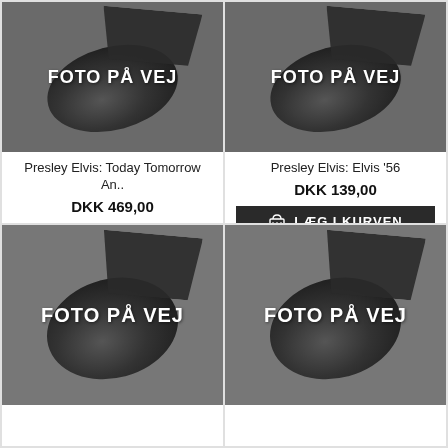[Figure (photo): Black and white close-up photo of a vinyl record turntable needle with text overlay FOTO PÅ VEJ]
Presley Elvis: Today Tomorrow An..
DKK 469,00
LÆG I KURVEN
[Figure (photo): Black and white close-up photo of a vinyl record turntable needle with text overlay FOTO PÅ VEJ]
Presley Elvis: Elvis '56
DKK 139,00
LÆG I KURVEN
[Figure (photo): Black and white close-up photo of a vinyl record turntable needle with text overlay FOTO PÅ VEJ]
[Figure (photo): Black and white close-up photo of a vinyl record turntable needle with text overlay FOTO PÅ VEJ]